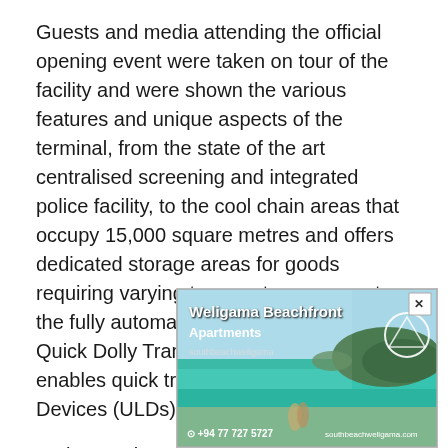Guests and media attending the official opening event were taken on tour of the facility and were shown the various features and unique aspects of the terminal, from the state of the art centralised screening and integrated police facility, to the cool chain areas that occupy 15,000 square metres and offers dedicated storage areas for goods requiring varying temperature ranges, to the fully automated material handling and Quick Dolly Transfer Systems that enables quick transfer of 6 Unit Load Devices (ULDs) simultaneously.
Emirates SkyCentral is a dedicated freighter facility, and with 12 aircraft stands directly in front of the terminal, one of its key features is the close proximity of aircraft to the receiving [obscured by ad] goods. The freig[obscured] ral fly to more tha[obscured]
[Figure (photo): Advertisement overlay for Weligama Beachfront Apartments showing a beach scene with turquoise water, palm trees, and a couple on the beach. Text reads 'Weligama Beachfront Apartments' with phone number +94 77 727 5727 and website southbeachweligama.com. Has a close/X button in top right corner.]